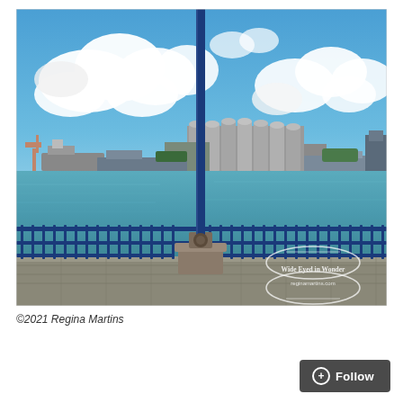[Figure (photo): Harbour/port scene photographed from a waterfront promenade. In the foreground is a blue metal railing fence with a tall blue lamp post/pole rising from a stone base. The harbour water is calm and blue-green. Across the water is a port facility with large grey cylindrical grain silos, ships and cranes. The sky is bright blue with large white cumulus clouds. A watermark in the lower right reads 'Wide Eyed in Wonder / reginamartins.com' in white text with a circular banner design.]
©2021 Regina Martins